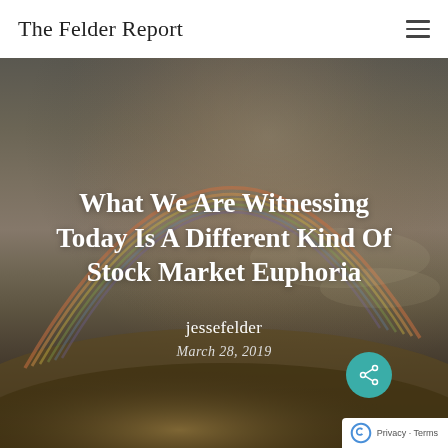The Felder Report
[Figure (photo): Hero image of a landscape with a rainbow arc over a dark stormy sky and golden/brown terrain below, serving as background for article title]
What We Are Witnessing Today Is A Different Kind Of Stock Market Euphoria
jessefelder
March 28, 2019